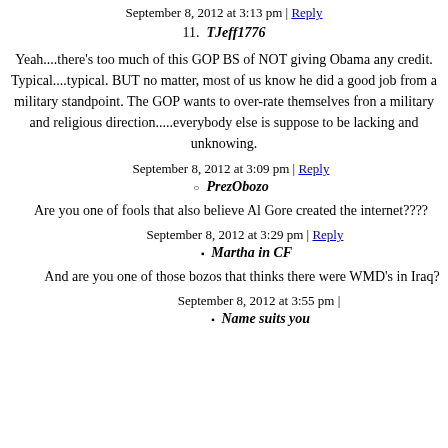September 8, 2012 at 3:13 pm | Reply
11.   TJeff1776
Yeah....there's too much of this GOP BS of NOT giving Obama any credit. Typical....typical. BUT no matter, most of us know he did a good job from a military standpoint. The GOP wants to over-rate themselves fron a military and religious direction.....everybody else is suppose to be lacking and unknowing.
September 8, 2012 at 3:09 pm | Reply
○  PrezObozo
Are you one of fools that also believe Al Gore created the internet????
September 8, 2012 at 3:29 pm | Reply
▪  Martha in CF
And are you one of those bozos that thinks there were WMD's in Iraq?
September 8, 2012 at 3:55 pm |
▪  Name suits you